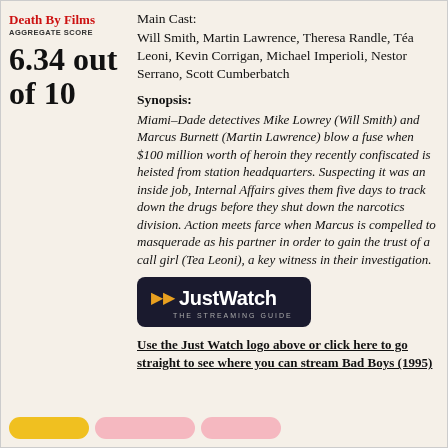[Figure (logo): Death By Films logo with red text and AGGREGATE SCORE subtitle]
6.34 out of 10
Main Cast:
Will Smith, Martin Lawrence, Theresa Randle, Téa Leoni, Kevin Corrigan, Michael Imperioli, Nestor Serrano, Scott Cumberbatch
Synopsis:
Miami–Dade detectives Mike Lowrey (Will Smith) and Marcus Burnett (Martin Lawrence) blow a fuse when $100 million worth of heroin they recently confiscated is heisted from station headquarters. Suspecting it was an inside job, Internal Affairs gives them five days to track down the drugs before they shut down the narcotics division. Action meets farce when Marcus is compelled to masquerade as his partner in order to gain the trust of a call girl (Tea Leoni), a key witness in their investigation.
[Figure (logo): JustWatch - The Streaming Guide logo on dark background]
Use the Just Watch logo above or click here to go straight to see where you can stream Bad Boys (1995)